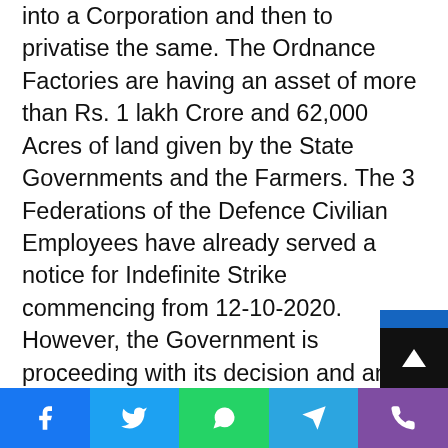into a Corporation and then to privatise the same. The Ordnance Factories are having an asset of more than Rs. 1 lakh Crore and 62,000 Acres of land given by the State Governments and the Farmers. The 3 Federations of the Defence Civilian Employees have already served a notice for Indefinite Strike commencing from 12-10-2020. However, the Government is proceeding with its decision and an empowered group of Ministers has been constituted under the Chairmanship of the Defence Minister to implement the process of Corporatization of 41 Ordnance Factories. The Federations have clearly told the Government in the rounds of discussions that the Federations and the employees will not accept changing the status of the Ordnance Factories. He stated that all efforts may be taken by the Central Trade Unions to bring the Railway Federations also in the main stream of the
[Figure (other): Blue sidebar widget with horizontal lines, used as a table of contents or navigation toggle button]
[Figure (other): Black scroll-to-top button with upward-pointing arrow]
[Figure (other): Social sharing bar at bottom with Facebook, Twitter, WhatsApp, Telegram, and Viber icons]